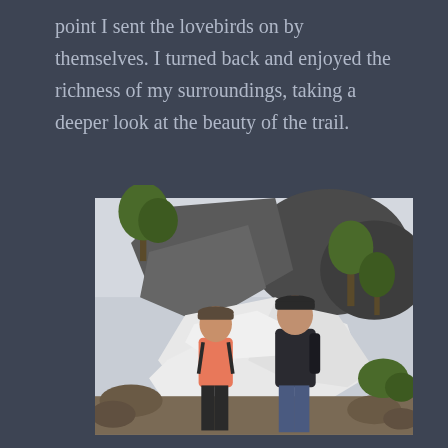point I sent the lovebirds on by themselves. I turned back and enjoyed the richness of my surroundings, taking a deeper look at the beauty of the trail.
[Figure (photo): Two hikers standing on a snowy mountain trail. A woman in a pink shirt and black pants with a backpack stands on the left, a man in a dark jacket and jeans with a cap stands on the right. Large granite boulders and green trees are visible in the background with snow covering the trail.]